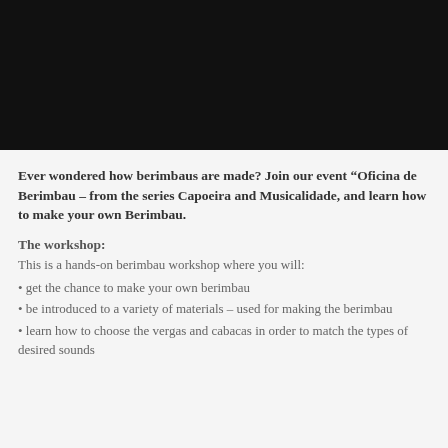[Figure (photo): Black rectangular image area at the top of the page]
Ever wondered how berimbaus are made? Join our event “Oficina de Berimbau – from the series Capoeira and Musicalidade, and learn how to make your own Berimbau.
The workshop:
This is a hands-on berimbau workshop where you will:
get the chance to make your own berimbau
be introduced to a variety of materials – used for making the berimbau
learn how to choose the vergas and cabacas in order to match the types of desired sounds